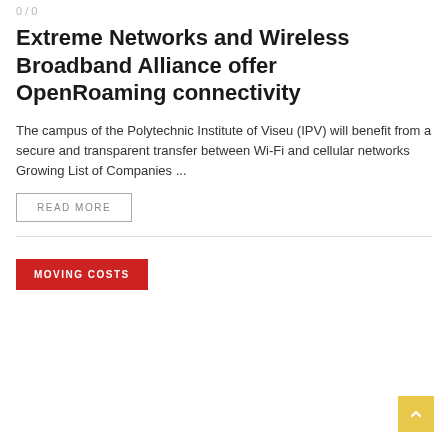0 / 0
Extreme Networks and Wireless Broadband Alliance offer OpenRoaming connectivity
The campus of the Polytechnic Institute of Viseu (IPV) will benefit from a secure and transparent transfer between Wi-Fi and cellular networks Growing List of Companies ...
READ MORE
MOVING COSTS